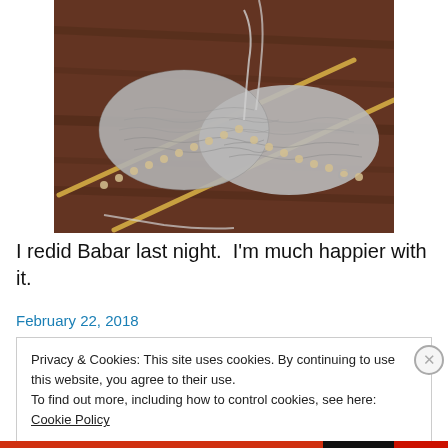[Figure (photo): A gray knitting work in progress on bamboo needles, placed on a wooden surface. Gray yarn is looped over two needles with stitches visible.]
I redid Babar last night.  I'm much happier with it.
February 22, 2018
Privacy & Cookies: This site uses cookies. By continuing to use this website, you agree to their use.
To find out more, including how to control cookies, see here: Cookie Policy
Close and accept